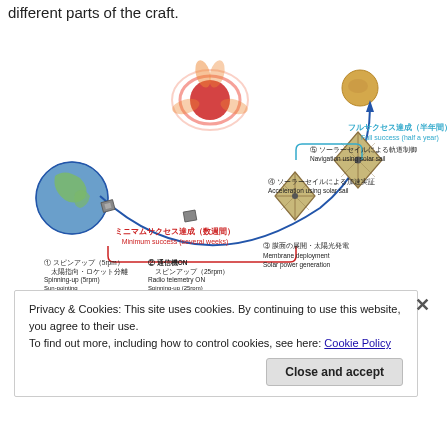different parts of the craft.
[Figure (infographic): IKAROS solar sail mission phases diagram showing trajectory from Earth to Venus. Steps labeled: (1) Spinning-up (5rpm), Sun-pointing, Separation from H-IIA; (2) Radio telemetry ON, Spinning-up (25rpm); (3) Membrane deployment, Solar power generation; (4) Acceleration using solar sail; (5) Navigation using solar sail. Minimum success (several weeks) and Full success (half a year) milestones shown with Japanese and English labels. Earth globe at left, Venus at upper right, solar sail craft shown at multiple positions along trajectory arc.]
Privacy & Cookies: This site uses cookies. By continuing to use this website, you agree to their use.
To find out more, including how to control cookies, see here: Cookie Policy
Close and accept